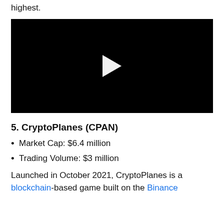highest.
[Figure (other): Black video player with white play button triangle in the center]
5. CryptoPlanes (CPAN)
Market Cap: $6.4 million
Trading Volume: $3 million
Launched in October 2021, CryptoPlanes is a blockchain-based game built on the Binance